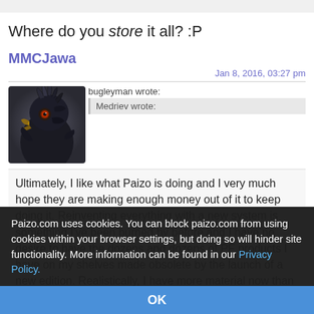Where do you store it all? :P
MMCJawa
Jan 8, 2016, 03:27 pm
[Figure (photo): Avatar image of a bird creature with dark feathers and open beak, used as forum profile picture]
bugleyman wrote:
Medriev wrote:
Ultimately, I like what Paizo is doing and I very much hope they are making enough money out of it to keep doing it. Reinventing everything with a new system is something I've been burned by before and I have no desire to have the dozens and dozens of PF products I have on my shelves made obsolete by the launch of a new edition. Realistically, I have more material now than I can use in my lifetime but I (as many on
Paizo.com uses cookies. You can block paizo.com from using cookies within your browser settings, but doing so will hinder site functionality. More information can be found in our Privacy Policy.
OK